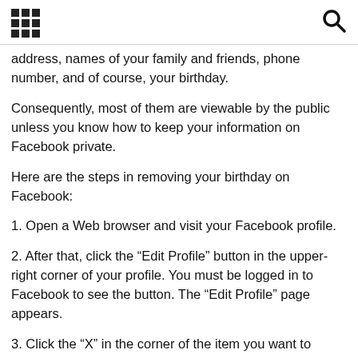[grid icon] [search icon]
address, names of your family and friends, phone number, and of course, your birthday.
Consequently, most of them are viewable by the public unless you know how to keep your information on Facebook private.
Here are the steps in removing your birthday on Facebook:
1. Open a Web browser and visit your Facebook profile.
2. After that, click the “Edit Profile” button in the upper-right corner of your profile. You must be logged in to Facebook to see the button. The “Edit Profile” page appears.
3. Click the “X” in the corner of the item you want to remove to delete it from your profile. Click the sections on the left side of the Facebook interface to select which section of your profile